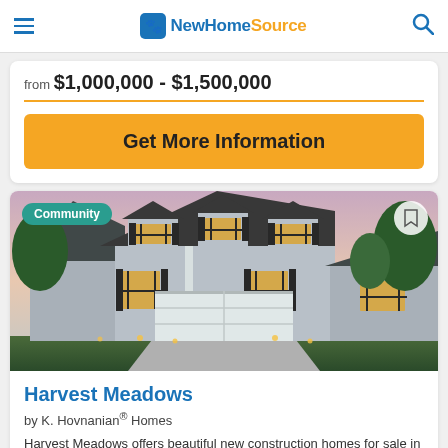NewHomeSource
from $1,000,000 - $1,500,000
Get More Information
[Figure (photo): Exterior photo of a two-story new construction home with gray siding, black shutters, yellow front door, and attached garage, photographed at dusk with landscape lighting. A 'Community' badge is shown in the top-left corner.]
Harvest Meadows
by K. Hovnanian® Homes
Harvest Meadows offers beautiful new construction homes for sale in Elyria, Ohio. Enjoy life in a...